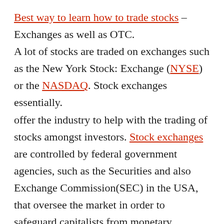Best way to learn how to trade stocks – Exchanges as well as OTC. A lot of stocks are traded on exchanges such as the New York Stock: Exchange (NYSE) or the NASDAQ. Stock exchanges essentially. offer the industry to help with the trading of stocks amongst investors. Stock exchanges are controlled by federal government agencies, such as the Securities and also Exchange Commission(SEC) in the USA, that oversee the market in order to safeguard capitalists from monetary fraudulence as well as to maintain the exchange market operating smoothly. Although the substantial bulk of stocks are traded on exchanges,. some stocks are traded nonprescription (OTC), where